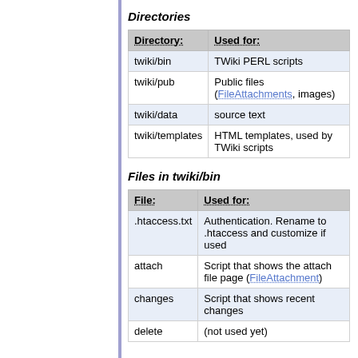Directories
| Directory: | Used for: |
| --- | --- |
| twiki/bin | TWiki PERL scripts |
| twiki/pub | Public files (FileAttachments, images) |
| twiki/data | source text |
| twiki/templates | HTML templates, used by TWiki scripts |
Files in twiki/bin
| File: | Used for: |
| --- | --- |
| .htaccess.txt | Authentication. Rename to .htaccess and customize if used |
| attach | Script that shows the attach file page (FileAttachment) |
| changes | Script that shows recent changes |
| delete | (not used yet) |